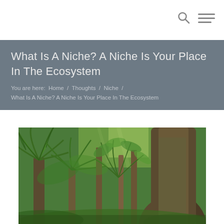What Is A Niche? A Niche Is Your Place In The Ecosystem
You are here: Home / Thoughts / Niche / What Is A Niche? A Niche Is Your Place In The Ecosystem
[Figure (photo): Dense tropical rainforest scene with large trees covered in moss, tree ferns with long fronds, and lush green undergrowth]